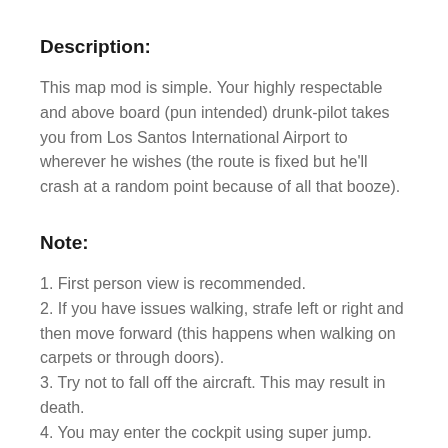Description:
This map mod is simple. Your highly respectable and above board (pun intended) drunk-pilot takes you from Los Santos International Airport to wherever he wishes (the route is fixed but he'll crash at a random point because of all that booze).
Note:
1. First person view is recommended.
2. If you have issues walking, strafe left or right and then move forward (this happens when walking on carpets or through doors).
3. Try not to fall off the aircraft. This may result in death.
4. You may enter the cockpit using super jump.
5. Most of the material in the aircraft can be walked through, including the walls.
6. Do not press the F (enterVehicle) key when in the aircraft.